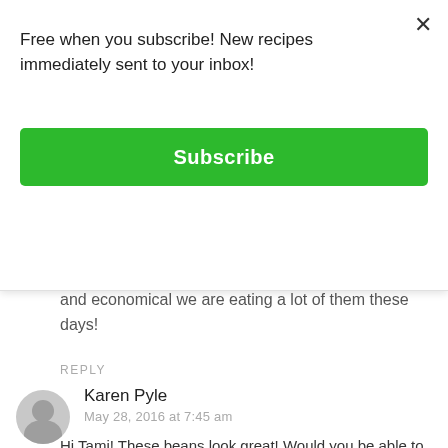Free when you subscribe! New recipes immediately sent to your inbox!
Subscribe
and economical we are eating a lot of them these days!
REPLY
Karen Pyle
May 28, 2016 at 7:45 am
Hi Tami! These beans look great! Would you be able to convert to using the Instant Pot instead of the